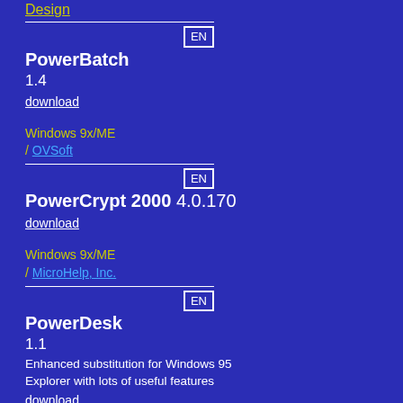Design
EN
PowerBatch 1.4
download
Windows 9x/ME / OVSoft
EN
PowerCrypt 2000 4.0.170
download
Windows 9x/ME / MicroHelp, Inc.
EN
PowerDesk 1.1
Enhanced substitution for Windows 95 Explorer with lots of useful features
download
Windows 9x/ME